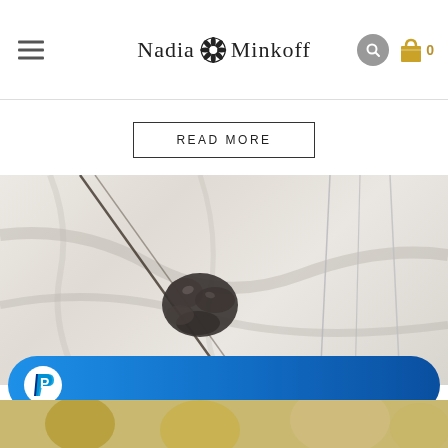Nadia Minkoff — navigation header with hamburger menu, logo, search icon, and shopping bag with count 0
READ MORE
[Figure (photo): Product photo of jewelry necklaces on a white marble surface. A dark gunmetal chain necklace with a sculptural flower/shell pendant is in the center. Silver chain necklaces are visible on the right side.]
[Figure (other): PayPal payment button — blue gradient rounded pill button with white PayPal 'P' logo on the left]